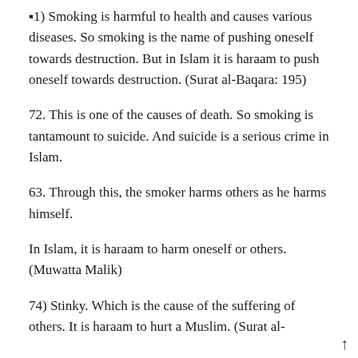▪1) Smoking is harmful to health and causes various diseases. So smoking is the name of pushing oneself towards destruction. But in Islam it is haraam to push oneself towards destruction. (Surat al-Baqara: 195)
72. This is one of the causes of death. So smoking is tantamount to suicide. And suicide is a serious crime in Islam.
63. Through this, the smoker harms others as he harms himself.
In Islam, it is haraam to harm oneself or others. (Muwatta Malik)
74) Stinky. Which is the cause of the suffering of others. It is haraam to hurt a Muslim. (Surat al-